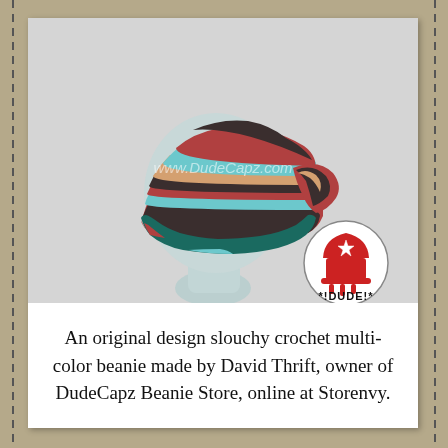[Figure (photo): A colorful slouchy crochet beanie hat displayed on a grey mannequin head. The hat features stripes of red, dark brown/grey, light blue, teal, and tan/beige yarn in a multi-color pattern. A watermark reads 'www.DudeCapz.com' across the center. A round logo in the lower right shows a red beanie hat with a star and the text '!DUDE!'.]
An original design slouchy crochet multi-color beanie made by David Thrift, owner of DudeCapz Beanie Store, online at Storenvy.